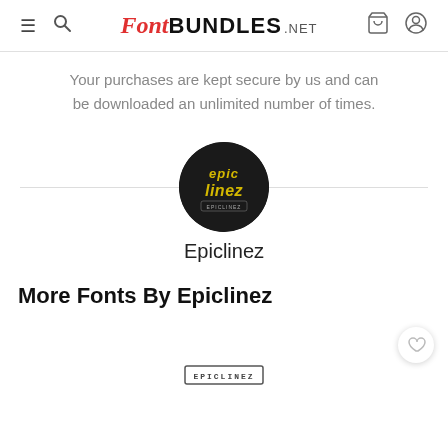FontBUNDLES.NET
Your purchases are kept secure by us and can be downloaded an unlimited number of times.
[Figure (logo): Epiclinez circular logo — dark circle with yellow handwritten 'epic linez' text and small banner below]
Epiclinez
More Fonts By Epiclinez
[Figure (logo): Small rectangular badge with 'EPICLINEZ' text in monospace uppercase, bordered box]